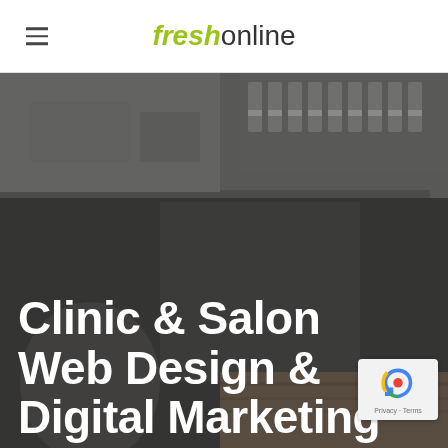freshonline
[Figure (photo): Dark moody photo of a clinic or salon interior with shelves of product bottles in the background and a person partially visible in the lower portion. The image serves as a hero background with white bold text overlay.]
Clinic & Salon Web Design & Digital Marketing